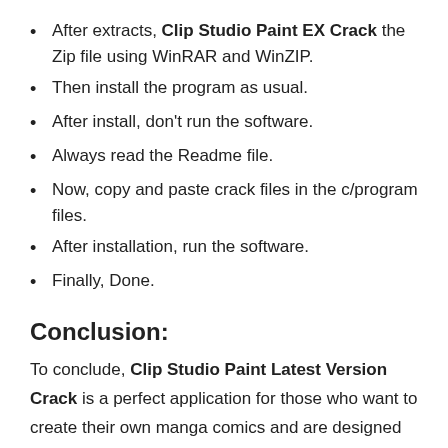After extracts, Clip Studio Paint EX Crack the Zip file using WinRAR and WinZIP.
Then install the program as usual.
After install, don't run the software.
Always read the Readme file.
Now, copy and paste crack files in the c/program files.
After installation, run the software.
Finally, Done.
Conclusion:
To conclude, Clip Studio Paint Latest Version Crack is a perfect application for those who want to create their own manga comics and are designed to give you all the tools you need to get the job done, without the hassle or